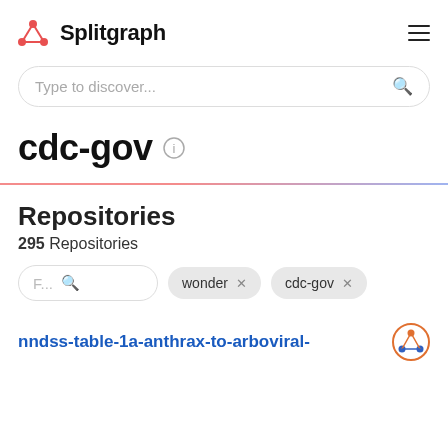Splitgraph
Type to discover...
cdc-gov
Repositories
295 Repositories
F... wonder X  cdc-gov X
nndss-table-1a-anthrax-to-arboviral-